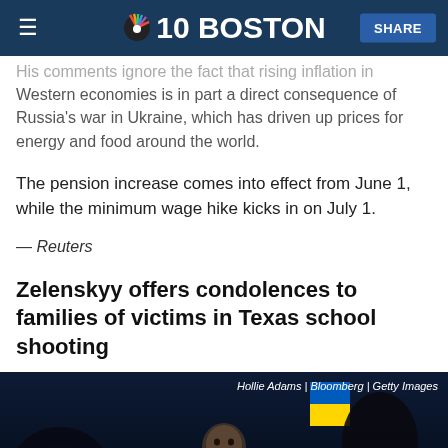NBC 10 BOSTON | SHARE
His comments ignore the fact that rising inflation in Western economies is in part a direct consequence of Russia's war in Ukraine, which has driven up prices for energy and food around the world.
The pension increase comes into effect from June 1, while the minimum wage hike kicks in on July 1.
— Reuters
Zelenskyy offers condolences to families of victims in Texas school shooting
[Figure (photo): Dark photo of Zelenskyy speaking at a podium with Ukrainian flag visible in background, silhouetted figures in foreground]
Hollie Adams | Bloomberg | Getty Images